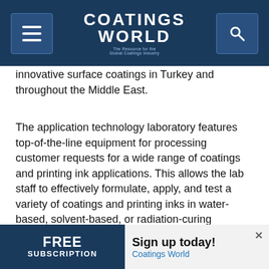Coatings World — The Resource for the Global Coatings Industry
innovative surface coatings in Turkey and throughout the Middle East.
The application technology laboratory features top-of-the-line equipment for processing customer requests for a wide range of coatings and printing ink applications. This allows the lab staff to effectively formulate, apply, and test a variety of coatings and printing inks in water-based, solvent-based, or radiation-curing formats. The modern laboratory equipment also includes a spray booth and a climatic chamber.
“The new laboratory strengthens our presence in the region,” emphasizes Gaetano Blanda, the head of the Coating Additives business line. “It enhances our market
[Figure (screenshot): Advertisement banner with dark blue left panel reading FREE SUBSCRIPTION and right panel reading Sign up today! Coatings World]